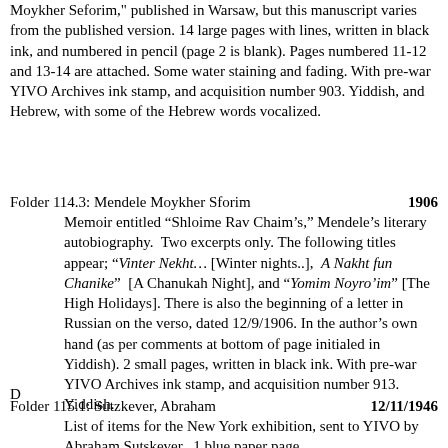Moykher Seforim," published in Warsaw, but this manuscript varies from the published version. 14 large pages with lines, written in black ink, and numbered in pencil (page 2 is blank). Pages numbered 11-12 and 13-14 are attached. Some water staining and fading. With pre-war YIVO Archives ink stamp, and acquisition number 903. Yiddish, and Hebrew, with some of the Hebrew words vocalized.
Folder 114.3: Mendele Moykher Sforim   1906
Memoir entitled “Shloime Rav Chaim’s,” Mendele’s literary autobiography.  Two excerpts only. The following titles appear; “Vinter Nekht… [Winter nights..],  A Nakht fun Chanike”  [A Chanukah Night], and “Yomim Noyro’im” [The High Holidays]. There is also the beginning of a letter in Russian on the verso, dated 12/9/1906. In the author’s own hand (as per comments at bottom of page initialed in Yiddish). 2 small pages, written in black ink. With pre-war YIVO Archives ink stamp, and acquisition number 913. Yiddish.
D
Folder 115.1: Sutzkever, Abraham   12/11/1946
List of items for the New York exhibition, sent to YIVO by Abraham Sutskever.  1 blue paper page,